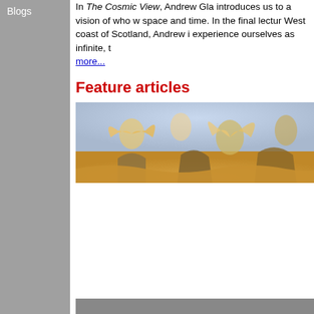Blogs
In The Cosmic View, Andrew Gla... introduces us to a vision of who w... space and time. In the final lectur... West coast of Scotland, Andrew i... experience ourselves as infinite, t... more...
Feature articles
[Figure (photo): A fresco painting showing angels and figures in a heavenly scene with golden and blue tones]
[Figure (photo): A silhouette photograph of soldiers with equipment, dark wartime scene]